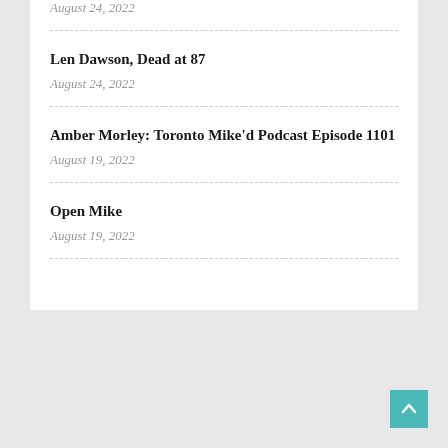August 24, 2022
Len Dawson, Dead at 87
August 24, 2022
Amber Morley: Toronto Mike'd Podcast Episode 1101
August 19, 2022
Open Mike
August 19, 2022